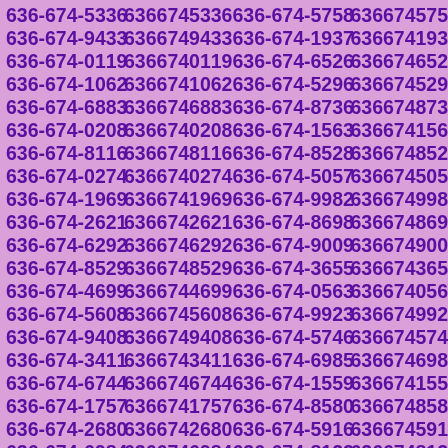| 636-674-5336 | 6366745336 | 636-674-5758 | 6366745758 |
| 636-674-9433 | 6366749433 | 636-674-1937 | 6366741937 |
| 636-674-0119 | 6366740119 | 636-674-6526 | 6366746526 |
| 636-674-1062 | 6366741062 | 636-674-5296 | 6366745296 |
| 636-674-6883 | 6366746883 | 636-674-8736 | 6366748736 |
| 636-674-0208 | 6366740208 | 636-674-1563 | 6366741563 |
| 636-674-8116 | 6366748116 | 636-674-8528 | 6366748528 |
| 636-674-0274 | 6366740274 | 636-674-5057 | 6366745057 |
| 636-674-1969 | 6366741969 | 636-674-9982 | 6366749982 |
| 636-674-2621 | 6366742621 | 636-674-8698 | 6366748698 |
| 636-674-6292 | 6366746292 | 636-674-9009 | 6366749009 |
| 636-674-8529 | 6366748529 | 636-674-3655 | 6366743655 |
| 636-674-4699 | 6366744699 | 636-674-0563 | 6366740563 |
| 636-674-5608 | 6366745608 | 636-674-9923 | 6366749923 |
| 636-674-9408 | 6366749408 | 636-674-5746 | 6366745746 |
| 636-674-3411 | 6366743411 | 636-674-6985 | 6366746985 |
| 636-674-6744 | 6366746744 | 636-674-1559 | 6366741559 |
| 636-674-1757 | 6366741757 | 636-674-8580 | 6366748580 |
| 636-674-2680 | 6366742680 | 636-674-5916 | 6366745916 |
| 636-674-6984 | 6366746984 | 636-674-8122 | 6366748122 |
| 636-674-0272 | 6366740272 | 636-674-5062 | 6366745062 |